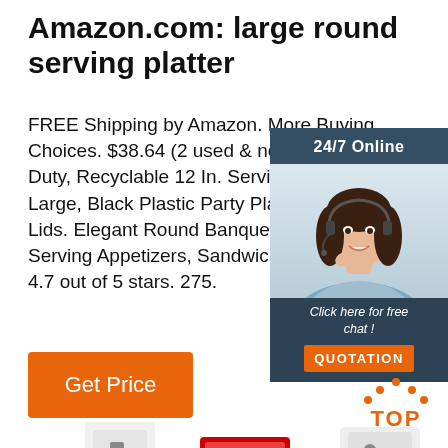Amazon.com: large round serving platter
FREE Shipping by Amazon. More Buying Choices. $38.64 (2 used & new offers). Duty, Recyclable 12 In. Serving Tray & 3pk. Large, Black Plastic Party Platter Clear Lids. Elegant Round Banquet on Trays for Serving Appetizers, Sandwic Veggie Plates. 4.7 out of 5 stars. 275.
[Figure (photo): Chat widget with woman wearing headset, 24/7 Online label, 'Click here for free chat!' text, and orange QUOTATION button]
[Figure (logo): Orange TOP badge with orange dots above text]
Get Price
[Figure (photo): Product images at bottom of page - white appliances/dispensers]